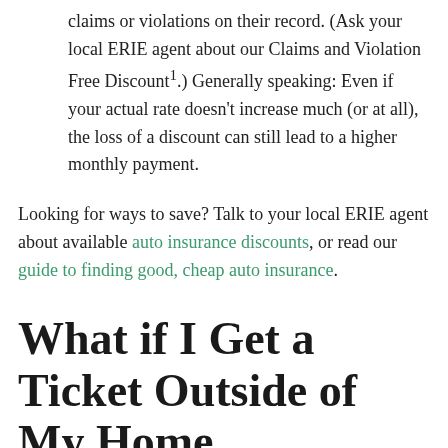claims or violations on their record. (Ask your local ERIE agent about our Claims and Violation Free Discount¹.) Generally speaking: Even if your actual rate doesn't increase much (or at all), the loss of a discount can still lead to a higher monthly payment.
Looking for ways to save? Talk to your local ERIE agent about available auto insurance discounts, or read our guide to finding good, cheap auto insurance.
What if I Get a Ticket Outside of My Home